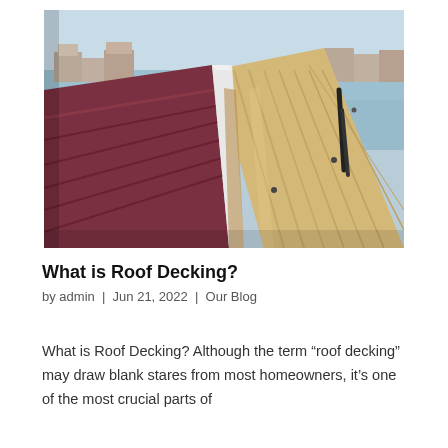[Figure (photo): Aerial view looking down the ridge of a roof under construction with wooden decking boards and dark red/maroon metal roofing panels, with a waterway and residential buildings visible in the background.]
What is Roof Decking?
by admin | Jun 21, 2022 | Our Blog
What is Roof Decking? Although the term “roof decking” may draw blank stares from most homeowners, it’s one of the most crucial parts of